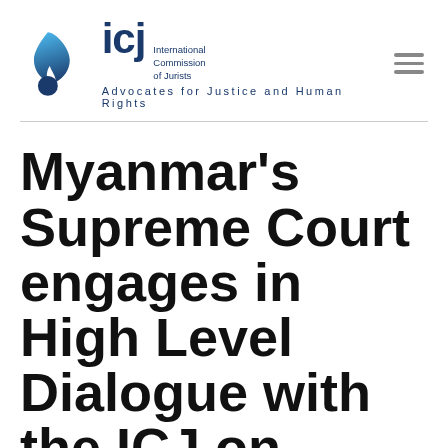[Figure (logo): ICJ logo with flame and circle icon, 'icj' lettering, 'International Commission of Jurists' text, and tagline 'Advocates for Justice and Human Rights']
Myanmar's Supreme Court engages in High Level Dialogue with the ICJ on Drafting and Implementing a New Judicial Code of Ethics